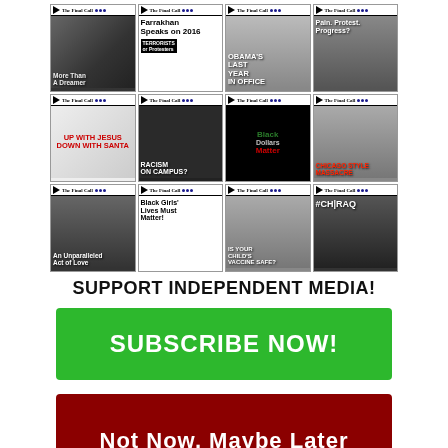[Figure (illustration): A 4x3 collage of 'The Final Call' newspaper front covers featuring headlines: 'More Than A Dreamer', 'Farrakhan Speaks on 2016', "Obama's Last Year In Office", 'Pain. Protest. Progress?', 'Up With Jesus Down With Santa', 'Racism on Campus?', 'Black Dollars Matter', 'Chicago Style [headline]', 'An Unparalleled Act of Love', "Black Girls' Lives Must Matter!", "Is Your Child's Vaccine Safe?", '#ChIraq']
SUPPORT INDEPENDENT MEDIA!
SUBSCRIBE NOW!
Not Now, Maybe Later